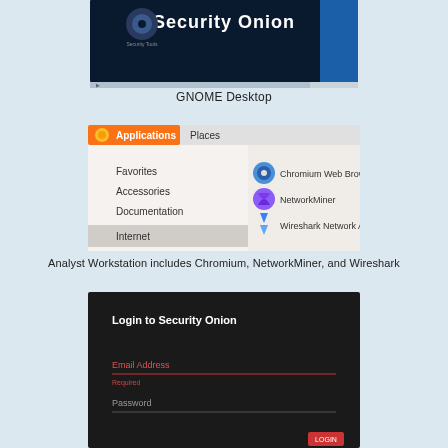[Figure (screenshot): Security Onion GNOME Desktop screenshot showing dark background with Security Onion logo]
GNOME Desktop
[Figure (screenshot): Applications menu showing Favorites, Accessories, Documentation, Internet categories with Chromium Web Browser, NetworkMiner, and Wireshark Network Analyzer icons]
Analyst Workstation includes Chromium, NetworkMiner, and Wireshark
[Figure (screenshot): Login to Security Onion screen with Email Address and Password fields on dark background]